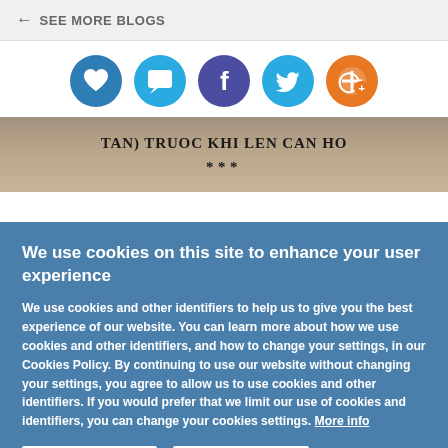← SEE MORE BLOGS
[Figure (illustration): Row of five social media icon circles: heart (blue), comment bubble (light blue), Facebook (purple), Twitter (light blue), RSS/add (orange)]
[Figure (photo): Book page image showing Vietnamese text 'TAN) TRUOC KHI LEN CAN HO' with three asterisks centered below]
We use cookies on this site to enhance your user experience
We use cookies and other identifiers to help us to give you the best experience of our website. You can learn more about how we use cookies and other identifiers, and how to change your settings, in our Cookies Policy. By continuing to use our website without changing your settings, you agree to allow us to use cookies and other identifiers. If you would prefer that we limit our use of cookies and identifiers, you can change your cookies settings. More info